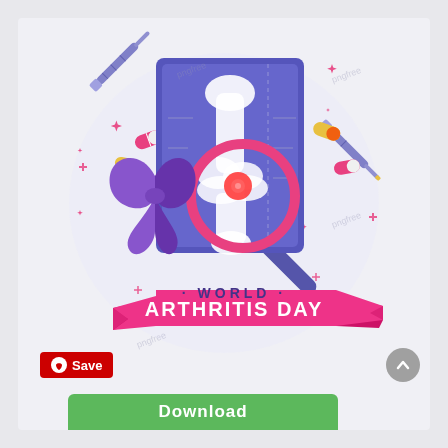[Figure (illustration): World Arthritis Day medical illustration featuring an X-ray image of a knee joint with a pink magnifying glass highlighting inflammation, surrounded by syringes, pills/capsules, a purple awareness ribbon, decorative sparkle stars, and a pink banner ribbon. Text reads '· WORLD ·' above and 'ARTHRITIS DAY' on the pink ribbon. Watermark text 'pngfree' visible.]
Save
Download